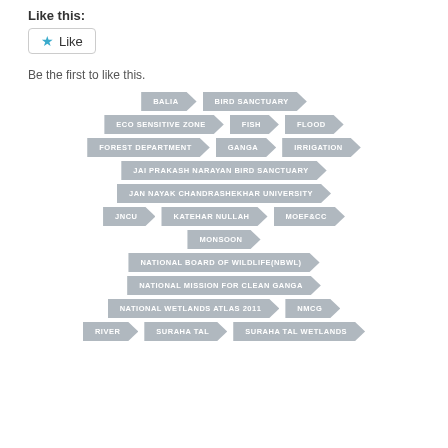Like this:
[Figure (other): Like button with star icon]
Be the first to like this.
BALIA
BIRD SANCTUARY
ECO SENSITIVE ZONE
FISH
FLOOD
FOREST DEPARTMENT
GANGA
IRRIGATION
JAI PRAKASH NARAYAN BIRD SANCTUARY
JAN NAYAK CHANDRASHEKHAR UNIVERSITY
JNCU
KATEHAR NULLAH
MOEF&CC
MONSOON
NATIONAL BOARD OF WILDLIFE(NBWL)
NATIONAL MISSION FOR CLEAN GANGA
NATIONAL WETLANDS ATLAS 2011
NMCG
RIVER
SURAHA TAL
SURAHA TAL WETLANDS